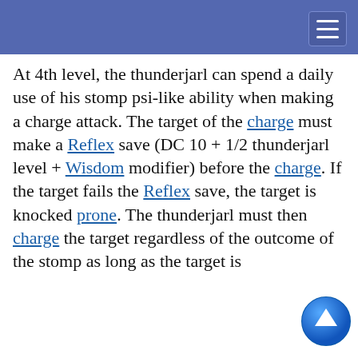At 4th level, the thunderjarl can spend a daily use of his stomp psi-like ability when making a charge attack. The target of the charge must make a Reflex save (DC 10 + 1/2 thunderjarl level + Wisdom modifier) before the charge. If the target fails the Reflex save, the target is knocked prone. The thunderjarl must then charge the target regardless of the outcome of the stomp as long as the target is [within range] the [distance] [ability].
This website uses cookies to provide functionality, but which are not used to track your activity. By continuing to use this site, you agree to the use of these cookies.

However, in addition to this, you may opt into your activity being tracked in order to help us improve our service.

For more information, please click here
[...] Weapon as a [bonus]. The thunderj[arl gains] the bonus [as a psioni]c focus for [Psionic Weapon is increased by an additional 1d6]